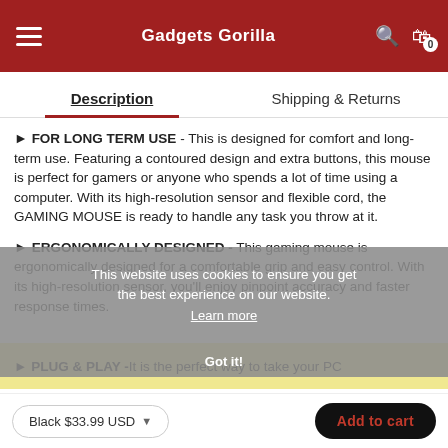Gadgets Gorilla — navigation header with hamburger menu, logo, search icon, and cart icon showing 0 items
Description | Shipping & Returns
► FOR LONG TERM USE - This is designed for comfort and long-term use. Featuring a contoured design and extra buttons, this mouse is perfect for gamers or anyone who spends a lot of time using a computer. With its high-resolution sensor and flexible cord, the GAMING MOUSE is ready to handle any task you throw at it.
► ERGONOMICALLY DESIGNED - This gaming mouse is ergonomically designed for a comfortable grip and easy control. With its high-resolution sensor, you'll enjoy pinpoint accuracy and faster response times.
► PLUG & PLAY - It is the perfect way to take your PC
This website uses cookies to ensure you get the best experience on our website. Learn more. Got it!
Black $33.99 USD   Add to cart